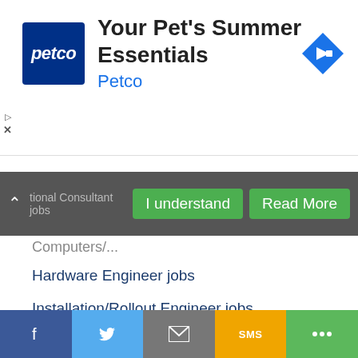[Figure (screenshot): Petco advertisement banner with logo and 'Your Pet's Summer Essentials' heading]
tional Consultant jobs
I understand   Read More
Computers/...
Hardware Engineer jobs
Installation/Rollout Engineer jobs
Internet jobs
IT Sales/Post Sales Support jobs
IT Sales/Pre Sales Support jobs
Information Technology jobs
IT/Systems Manager jobs
Middleware & EAI jobs
Mobile Engineer jobs
Telecommunications/Internet jobs
Network Analyst jobs
Facebook | Twitter | Email | SMS | Share